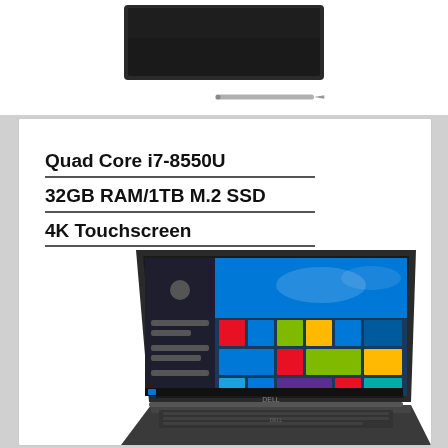[Figure (photo): Top portion of a Dell laptop (closed, dark) and a stylus pen visible at the top of the page]
[Figure (photo): Dell laptop open showing Windows 10 Start screen, positioned in the lower right of the white card]
Quad Core i7-8550U
32GB RAM/1TB M.2 SSD
4K Touchscreen